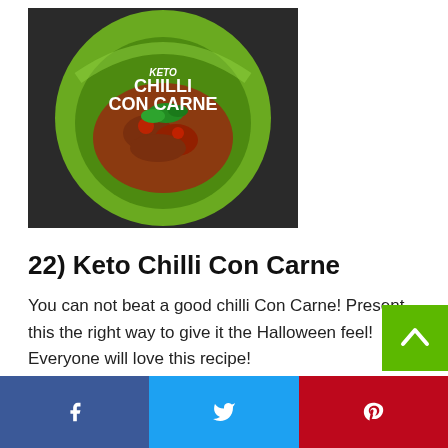[Figure (photo): Circular image of keto chilli con carne served in a green avocado bowl with text overlay reading KETO CHILLI CON CARNE]
22) Keto Chilli Con Carne
You can not beat a good chilli Con Carne! Present this the right way to give it the Halloween feel! Everyone will love this recipe!
Sweet Keto Halloween Ideas